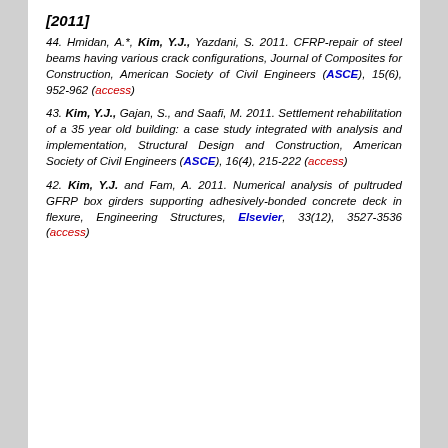[2011]
44. Hmidan, A.*, Kim, Y.J., Yazdani, S. 2011. CFRP-repair of steel beams having various crack configurations, Journal of Composites for Construction, American Society of Civil Engineers (ASCE), 15(6), 952-962 (access)
43. Kim, Y.J., Gajan, S., and Saafi, M. 2011. Settlement rehabilitation of a 35 year old building: a case study integrated with analysis and implementation, Structural Design and Construction, American Society of Civil Engineers (ASCE), 16(4), 215-222 (access)
42. Kim, Y.J. and Fam, A. 2011. Numerical analysis of pultruded GFRP box girders supporting adhesively-bonded concrete deck in flexure, Engineering Structures, Elsevier, 33(12), 3527-3536 (access)